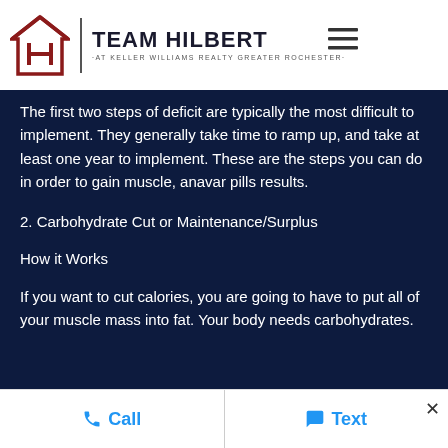TEAM HILBERT AT KELLER WILLIAMS REALTY GREATER ROCHESTER
The first two steps of deficit are typically the most difficult to implement. They generally take time to ramp up, and take at least one year to implement. These are the steps you can do in order to gain muscle, anavar pills results.
2. Carbohydrate Cut or Maintenance/Surplus
How it Works
If you want to cut calories, you are going to have to put all of your muscle mass into fat. Your body needs carbohydrates.
Call  Text